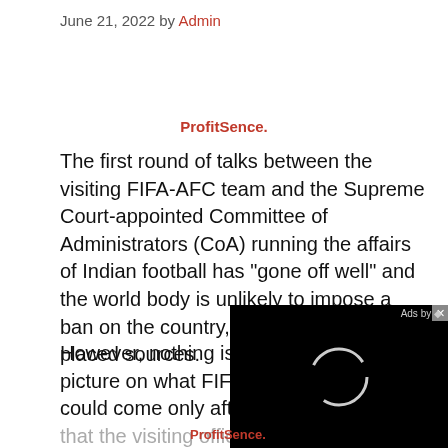June 21, 2022 by Admin
ProfitSence.
The first round of talks between the visiting FIFA-AFC team and the Supreme Court-appointed Committee of Administrators (CoA) running the affairs of Indian football has “gone off well” and the world body is unlikely to impose a ban on the country, according to well-placed sources.
However, nothing is offi… picture on what FIFA m… could come only after t… that the visiting officia…
[Figure (other): Black advertisement overlay with circular spinner/logo and 'Ads by' label with close button]